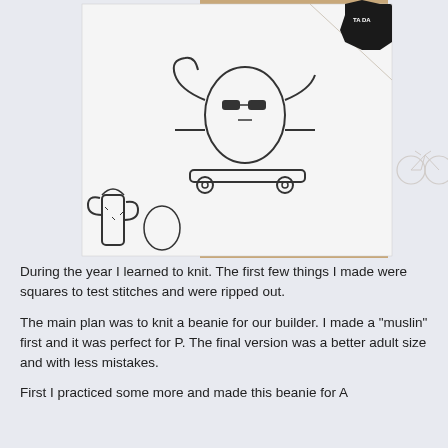[Figure (photo): Photo of white fabric/cloth with black line-drawing illustrations of cartoon cactus characters on skateboards, folded and laid on a warm tan/wood surface. A small black and white label is visible at top right of the fabric. To the right of the fabric is a faint line drawing of a bicycle.]
During the year I learned to knit. The first few things I made were squares to test stitches and were ripped out.
The main plan was to knit a beanie for our builder. I made a "muslin" first and it was perfect for P. The final version was a better adult size and with less mistakes.
First I practiced some more and made this beanie for A